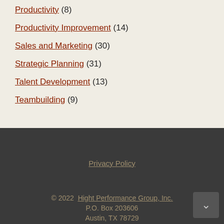Productivity (8)
Productivity Improvement (14)
Sales and Marketing (30)
Strategic Planning (31)
Talent Development (13)
Teambuilding (9)
Privacy Policy
© 2022 Hight Performance Group, Inc.
P.O. Box 203606
Austin, TX 78729